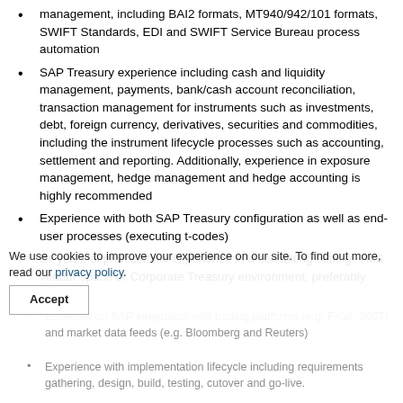management, including BAI2 formats, MT940/942/101 formats, SWIFT Standards, EDI and SWIFT Service Bureau process automation
SAP Treasury experience including cash and liquidity management, payments, bank/cash account reconciliation, transaction management for instruments such as investments, debt, foreign currency, derivatives, securities and commodities, including the instrument lifecycle processes such as accounting, settlement and reporting. Additionally, experience in exposure management, hedge management and hedge accounting is highly recommended
Experience with both SAP Treasury configuration as well as end-user processes (executing t-codes)
8+ years of professional experience in a consulting setting, TMS vendor space or Corporate Treasury environment, preferably with SAP
Expertise on SAP integration with trading platforms (e.g. FXall, 360T) and market data feeds (e.g. Bloomberg and Reuters)
Experience with implementation lifecycle including requirements gathering, design, build, testing, cutover and go-live.
We use cookies to improve your experience on our site. To find out more, read our privacy policy.